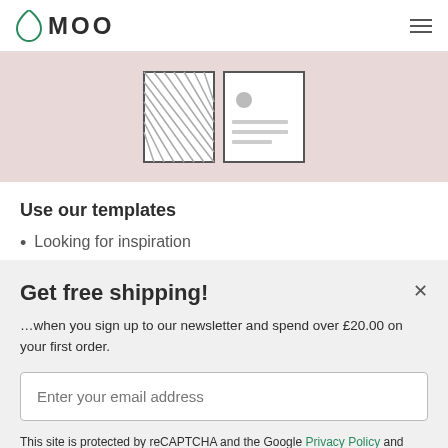MOO
[Figure (illustration): Pink background area showing product card illustrations - a hatched/striped card and a business card with lines]
Use our templates
Looking for inspiration
Get free shipping!
…when you sign up to our newsletter and spend over £20.00 on your first order.
Enter your email address
This site is protected by reCAPTCHA and the Google Privacy Policy and Terms of Service apply.
Privacy Policy › Sign up